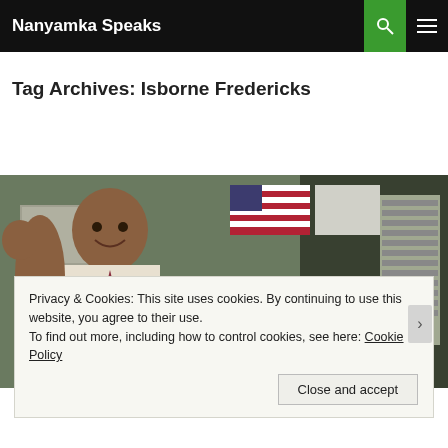Nanyamka Speaks
Tag Archives: Isborne Fredericks
[Figure (photo): A man in a white shirt and tie smiling, with an American flag and Illinois state flag visible in the background, appearing to be in an office or classroom setting.]
Privacy & Cookies: This site uses cookies. By continuing to use this website, you agree to their use.
To find out more, including how to control cookies, see here: Cookie Policy
Close and accept